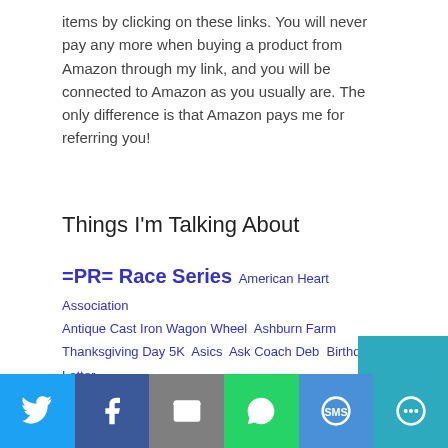items by clicking on these links. You will never pay any more when buying a product from Amazon through my link, and you will be connected to Amazon as you usually are. The only difference is that Amazon pays me for referring you!
Things I'm Talking About
=PR= Race Series  American Heart Association  Antique Cast Iron Wagon Wheel  Ashburn Farm Thanksgiving Day 5K  Asics  Ask Coach Deb  Birthday Letter  Black Pine  Born To Run  Boston Marathon  Christmas  Christmas Tree  Cruisers  Feetures Socks  Friday Five  GU  Hokie Half Marathon  Loudoun County
Twitter | Facebook | Email | WhatsApp | SMS | More